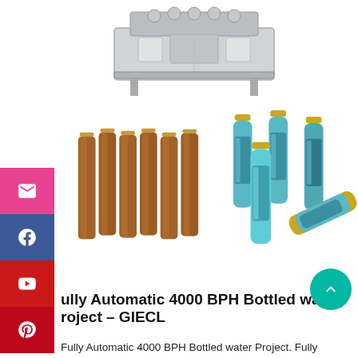[Figure (photo): Industrial bottling/labeling machine shown from above, stainless steel conveyor-style equipment]
[Figure (photo): Left: group of brown/amber glass bottles without labels. Right: group of small blue-labeled glass bottles with gold caps (health drink product).]
Fully Automatic 4000 BPH Bottled water Project – GIECL
Fully Automatic 4000 BPH Bottled water Project. Fully automatic mineral water bottling plant has one major advantage and that is being free of human touch which helps in maintaining the quality of purified water. GIECL has installed many such projects across the